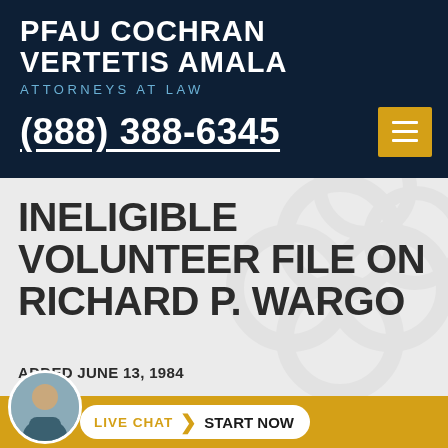PFAU COCHRAN VERTETIS AMALA ATTORNEYS AT LAW (888) 388-6345
INELIGIBLE VOLUNTEER FILE ON RICHARD P. WARGO
ADDED JUNE 13, 1984
In around 1920, soon after the Boy Scouts of America (“BSA”) was fo... adult
[Figure (other): Live chat widget with attorney avatar, 'LIVE CHAT' label and 'START NOW' button]